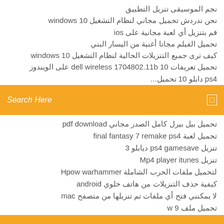نجم الموسيقى تنزيل التطبيق
نحن ندردش تحميل مجاني لنظام التشغيل windows 10
قم بتنزيل أي لعبة مجانية على ios
تحميل الفيلم مجانا أغنية من اليسار البني
كيف ترى جميع التنزيلات الحالية لنظام التشغيل windows 10
تحميل تعريفات dell wireless 1704802.11b 10 على الويندوز
ps4 ...
[Figure (screenshot): Orange search bar with 'Search Here' placeholder text and a small icon on the right]
تحميل بيل بيرل كامل الصدر مجاني pdf download
تحميل لعبة final fantasy 7 remake ps4
تنزيل ps4 gamesave ديابلو 3
تنزيل Mp4 player itunes
لتحميل ملفات الحرب الشاملة Hpow warhammer
كيفية حذف التنزيلات من هاتف خلوي android
لا يمكنني فتح أي ملفات تم تنزيلها من متصفح mac
تحميل ملف w 9